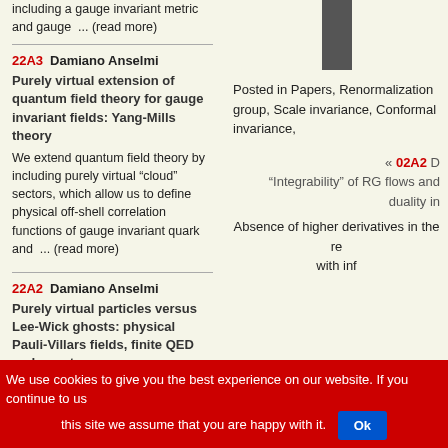including a gauge invariant metric and gauge  ... (read more)
[Figure (photo): Small dark thumbnail image on the right side]
Posted in Papers, Renormalization group, Scale invariance, Conformal invariance,
22A3  Damiano Anselmi
Purely virtual extension of quantum field theory for gauge invariant fields: Yang-Mills theory
We extend quantum field theory by including purely virtual “cloud” sectors, which allow us to define physical off-shell correlation functions of gauge invariant quark and  ... (read more)
« 02A2 D “Integrability” of RG flows and duality in
Absence of higher derivatives in the re with inf
22A2  Damiano Anselmi
Purely virtual particles versus Lee-Wick ghosts: physical Pauli-Villars fields, finite QED and quantum
We use cookies to give you the best experience on our website. If you continue to us this site we assume that you are happy with it.  Ok